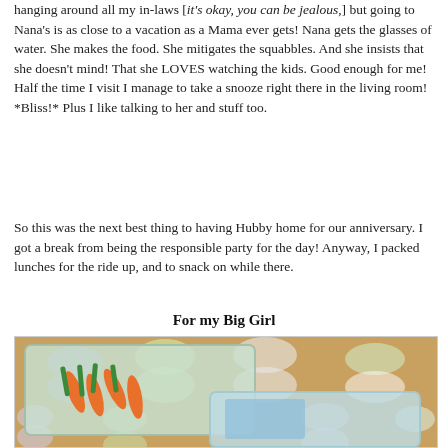hanging around all my in-laws [it's okay, you can be jealous,] but going to Nana's is as close to a vacation as a Mama ever gets! Nana gets the glasses of water. She makes the food. She mitigates the squabbles. And she insists that she doesn't mind! That she LOVES watching the kids. Good enough for me! Half the time I visit I manage to take a snooze right there in the living room! *Bliss!* Plus I like talking to her and stuff too.
So this was the next best thing to having Hubby home for our anniversary. I got a break from being the responsible party for the day! Anyway, I packed lunches for the ride up, and to snack on while there.
For my Big Girl
[Figure (photo): Photo of a plastic bento/lunch box container with compartments holding baby carrots and green beans, placed on a colorful butterfly-patterned background.]